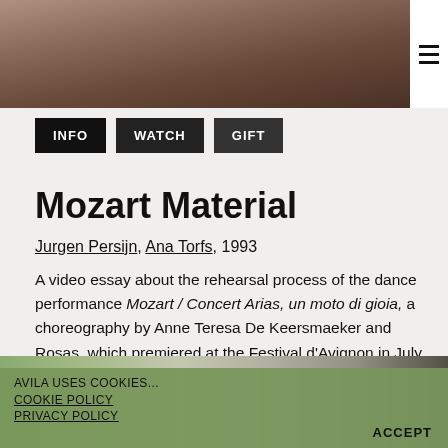[Figure (photo): Partial photo of a person's head/neck with dark hair, cropped at top]
Mozart Material
Jurgen Persijn, Ana Torfs, 1993
A video essay about the rehearsal process of the dance performance Mozart / Concert Arias, un moto di gioia, a choreography by Anne Teresa De Keersmaeker and Rosas, which premiered at the Festival d'Avignon in July 1992.
[Figure (photo): Partial outdoor photo visible at bottom of page, partially obscured by cookie banner]
AVILA USES COOKIES...
COOKIE POLICY
PRIVACY POLICY
ACCEPT